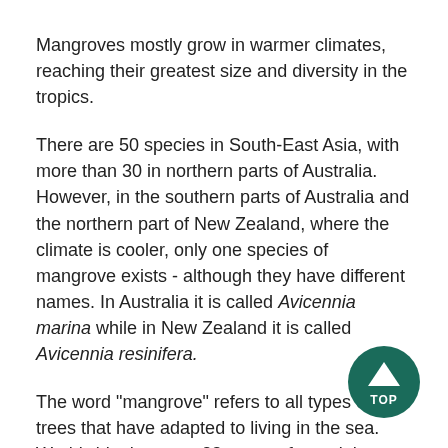Mangroves mostly grow in warmer climates, reaching their greatest size and diversity in the tropics.
There are 50 species in South-East Asia, with more than 30 in northern parts of Australia. However, in the southern parts of Australia and the northern part of New Zealand, where the climate is cooler, only one species of mangrove exists - although they have different names. In Australia it is called Avicennia marina while in New Zealand it is called Avicennia resinifera.
The word "mangrove" refers to all types of trees that have adapted to living in the sea. Worldwide there are 23 genera from eight different families that have species described as mangroves.
Needs
Mangroves need to grow in quiet waters such as inlets, harbours and estuaries, because exposed areas would
[Figure (illustration): Dark teal circular button with upward-pointing triangle arrow and the text TOP]